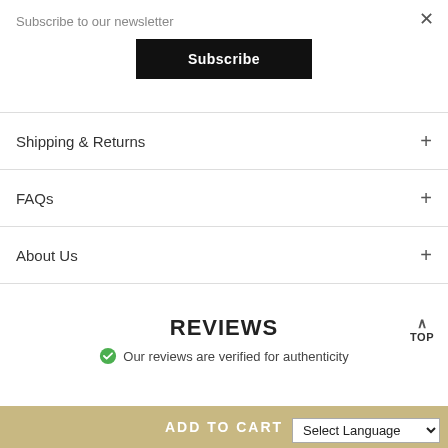Subscribe to our newsletter
Subscribe
Shipping & Returns
FAQs
About Us
REVIEWS
Our reviews are verified for authenticity
TOP
ADD TO CART